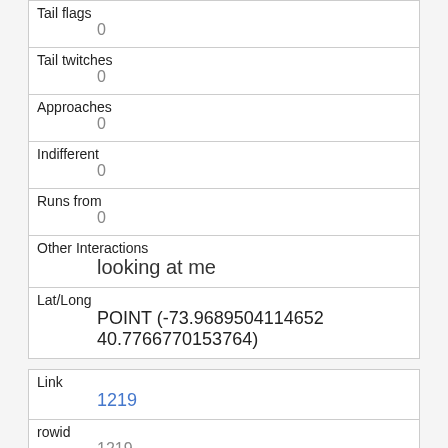| Tail flags | 0 |
| Tail twitches | 0 |
| Approaches | 0 |
| Indifferent | 0 |
| Runs from | 0 |
| Other Interactions | looking at me |
| Lat/Long | POINT (-73.9689504114652 40.7766770153764) |
| Link | 1219 |
| rowid | 1219 |
| longitude | -73.96618922004741 |